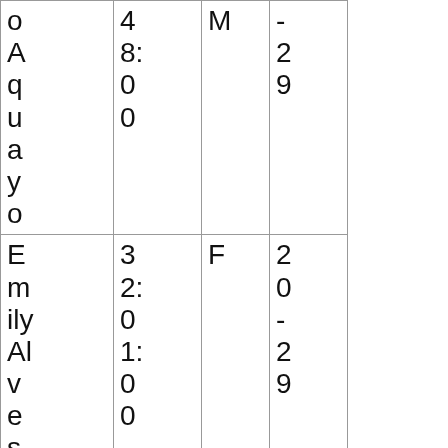| Name | Time | Sex | Age |
| --- | --- | --- | --- |
| oAquayo | 48:00 | M | -29 |
| EmilyAlves | 32:01:00 | F | 20-29 |
| MelanieGrgurich | 32:11:00 | F | 50-59 |
| Amand | 32:2 | F | 20 |